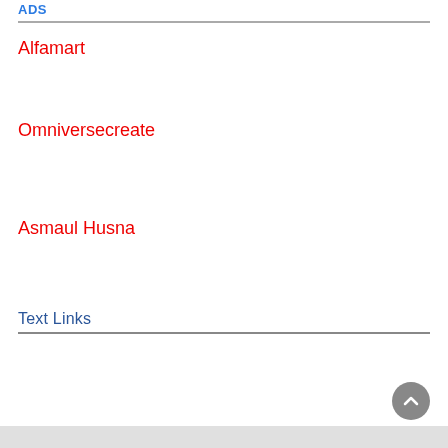ADS
Alfamart
Omniversecreate
Asmaul Husna
Text Links